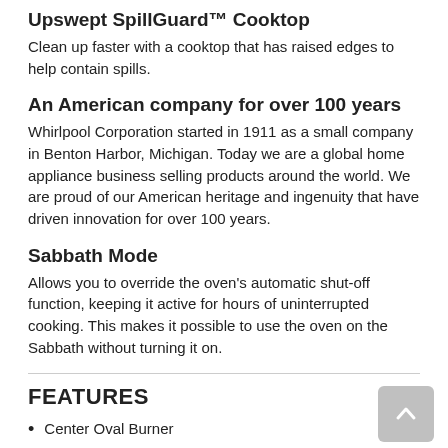Upswept SpillGuard™ Cooktop
Clean up faster with a cooktop that has raised edges to help contain spills.
An American company for over 100 years
Whirlpool Corporation started in 1911 as a small company in Benton Harbor, Michigan. Today we are a global home appliance business selling products around the world. We are proud of our American heritage and ingenuity that have driven innovation for over 100 years.
Sabbath Mode
Allows you to override the oven's automatic shut-off function, keeping it active for hours of uninterrupted cooking. This makes it possible to use the oven on the Sabbath without turning it on.
FEATURES
Center Oval Burner
Dishwasher-Safe Cast-Iron Grates